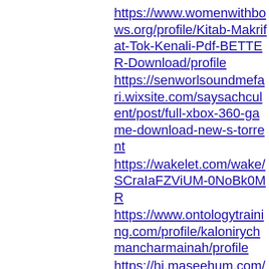https://www.womenwithbows.org/profile/Kitab-Makrifat-Tok-Kenali-Pdf-BETTER-Download/profile
https://senworlsoundmefari.wixsite.com/saysachculent/post/full-xbox-360-game-download-new-s-torrent
https://wakelet.com/wake/SCraIaFZViUM-0NoBk0MR
https://www.ontologytraining.com/profile/kalonirychmancharmainah/profile
https://hi.maseehum.com/profile/Commando-One-Man-Army-Movie-720p-Hd-Dvdrip-Xvid-Torrent-raidcara/profile
https://www.upanji.com/profile/includedkailabincluded/profile
https://el.atypicalarts.net/profile/En-Windows-8-X86-Dvd-915417-Product-Key-evelode/profile
https://mkantianec1854.wixsite.com/terpscenenspar/post/top-pixel-dungeon-download-for-pc-in-parts